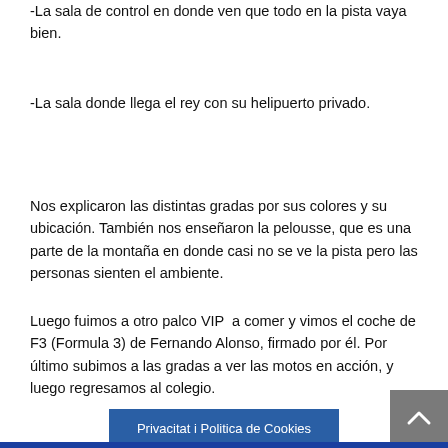La sala de control en donde ven que todo en la pista vaya bien.
-La sala donde llega el rey con su helipuerto privado.
Nos explicaron las distintas gradas por sus colores y su ubicación. También nos enseñaron la pelousse, que es una parte de la montaña en donde casi no se ve la pista pero las personas sienten el ambiente.
Luego fuimos a otro palco VIP  a comer y vimos el coche de F3 (Formula 3) de Fernando Alonso, firmado por él. Por último subimos a las gradas a ver las motos en acción, y luego regresamos al colegio.
Privacitat i Politica de Cookies